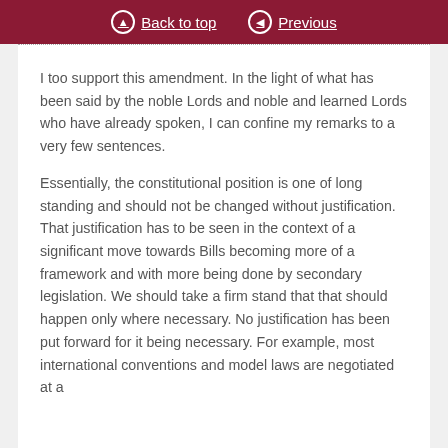Back to top | Previous
I too support this amendment. In the light of what has been said by the noble Lords and noble and learned Lords who have already spoken, I can confine my remarks to a very few sentences.
Essentially, the constitutional position is one of long standing and should not be changed without justification. That justification has to be seen in the context of a significant move towards Bills becoming more of a framework and with more being done by secondary legislation. We should take a firm stand that that should happen only where necessary. No justification has been put forward for it being necessary. For example, most international conventions and model laws are negotiated at a